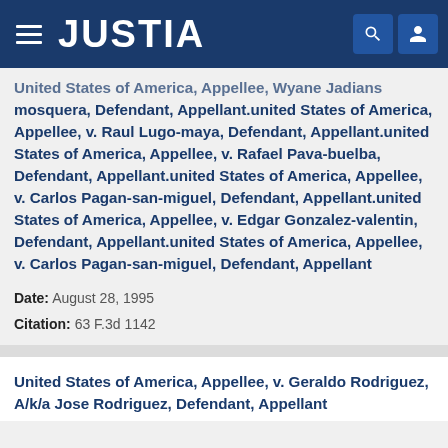JUSTIA
United States of America, Appellee, Wyane Jadians mosquera, Defendant, Appellant.united States of America, Appellee, v. Raul Lugo-maya, Defendant, Appellant.united States of America, Appellee, v. Rafael Pava-buelba, Defendant, Appellant.united States of America, Appellee, v. Carlos Pagan-san-miguel, Defendant, Appellant.united States of America, Appellee, v. Edgar Gonzalez-valentin, Defendant, Appellant.united States of America, Appellee, v. Carlos Pagan-san-miguel, Defendant, Appellant
Date: August 28, 1995
Citation: 63 F.3d 1142
United States of America, Appellee, v. Geraldo Rodriguez, A/k/a Jose Rodriguez, Defendant, Appellant